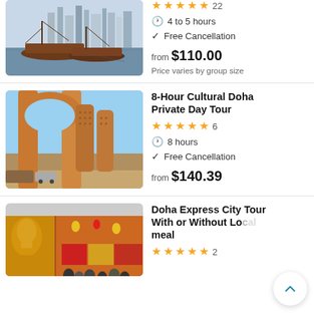[Figure (photo): Photo of traditional wooden dhow boats moored at a waterfront with city skyline in the background]
4 to 5 hours
Free Cancellation
from $110.00
Price varies by group size
8-Hour Cultural Doha Private Day Tour
[Figure (photo): Photo of ornate arched pillars framing decorative tower structures at a cultural site in Doha, Qatar]
8 hours
Free Cancellation
from $140.39
Doha Express City Tour With or Without Local meal
[Figure (photo): Photo of a golden statue and colorful market stalls in Doha]